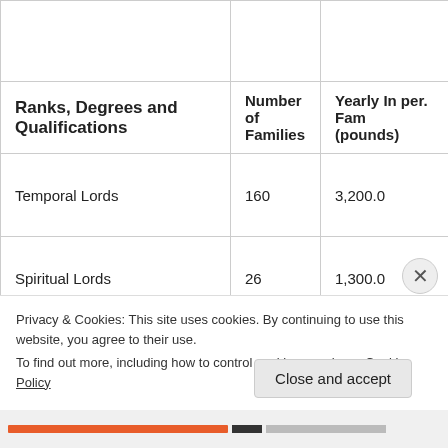| Ranks, Degrees and Qualifications | Number of Families | Yearly In per. Fam (pounds) |
| --- | --- | --- |
| Temporal Lords | 160 | 3,200.0 |
| Spiritual Lords | 26 | 1,300.0 |
| Baronets | 800 | 880.0 |
| Knights | 600 | 650.0 |
Privacy & Cookies: This site uses cookies. By continuing to use this website, you agree to their use.
To find out more, including how to control cookies, see here: Cookie Policy